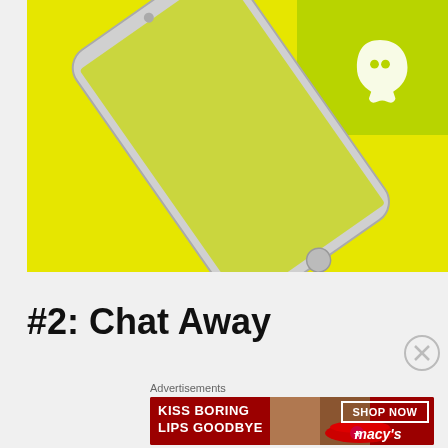[Figure (photo): Smartphone on a bright yellow background with Snapchat ghost logo on a green surface in the upper right corner]
#2: Chat Away
Advertisements
[Figure (illustration): Macy's advertisement banner: KISS BORING LIPS GOODBYE with a close-up of a woman's face showing red lips, SHOP NOW button and Macy's star logo on dark red background]